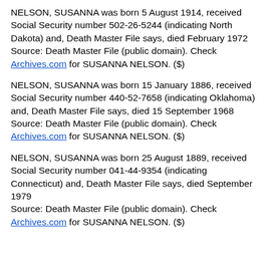NELSON, SUSANNA was born 5 August 1914, received Social Security number 502-26-5244 (indicating North Dakota) and, Death Master File says, died February 1972
Source: Death Master File (public domain). Check Archives.com for SUSANNA NELSON. ($)
NELSON, SUSANNA was born 15 January 1886, received Social Security number 440-52-7658 (indicating Oklahoma) and, Death Master File says, died 15 September 1968
Source: Death Master File (public domain). Check Archives.com for SUSANNA NELSON. ($)
NELSON, SUSANNA was born 25 August 1889, received Social Security number 041-44-9354 (indicating Connecticut) and, Death Master File says, died September 1979
Source: Death Master File (public domain). Check Archives.com for SUSANNA NELSON. ($)